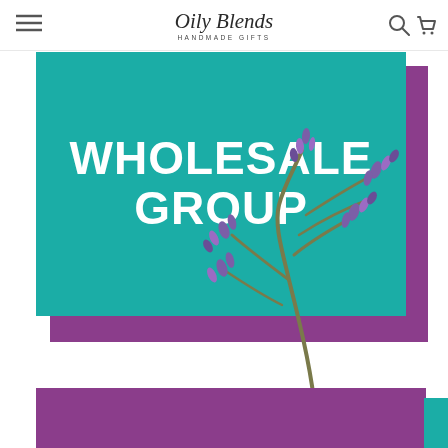Oily Blends Handmade Gifts — navigation header with menu, search, and cart icons
[Figure (illustration): Teal rectangle with purple shadow block behind it displaying bold white text 'WHOLESALE GROUP', with a lavender sprig illustration overlapping the right side]
[Figure (illustration): Partial purple banner block with teal accent visible at bottom of page, cut off]